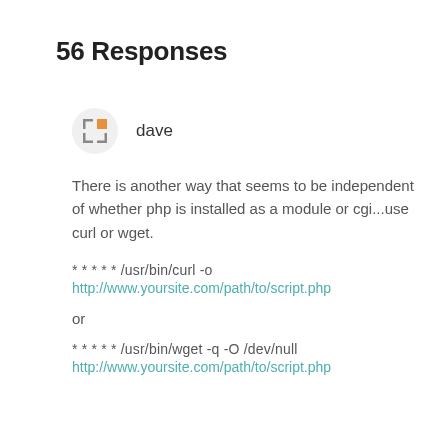56 Responses
dave
There is another way that seems to be independent of whether php is installed as a module or cgi...use curl or wget.
* * * * * /usr/bin/curl -o
http://www.yoursite.com/path/to/script.php
or
* * * * * /usr/bin/wget -q -O /dev/null
http://www.yoursite.com/path/to/script.php